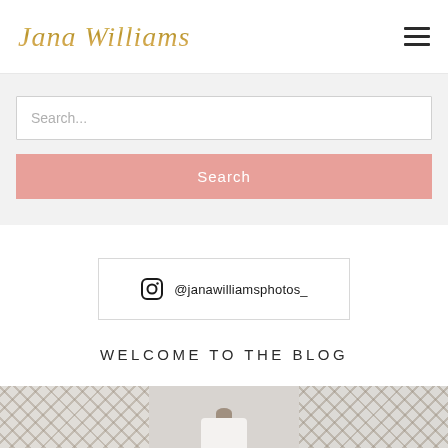Jana Williams
[Figure (screenshot): Search input field with placeholder text 'Search...' and a pink Search button below]
@janawilliamsphotos_
WELCOME TO THE BLOG
[Figure (photo): Three decorative blog thumbnail images showing geometric/diamond patterns and a lamp]